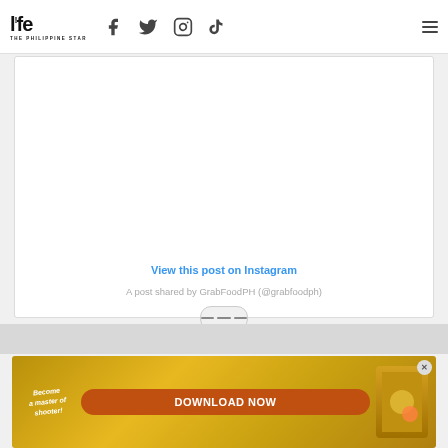life THE PHILIPPINE STAR — with social icons (Facebook, Twitter, Instagram, TikTok) and hamburger menu
[Figure (screenshot): Instagram embed placeholder showing 'View this post on Instagram' link and caption 'A post shared by GrabFoodPH (@grabfoodph)']
[Figure (infographic): Advertisement banner: 'Become a master of shooter!' with 'DOWNLOAD NOW' button on golden/brown background with game imagery]